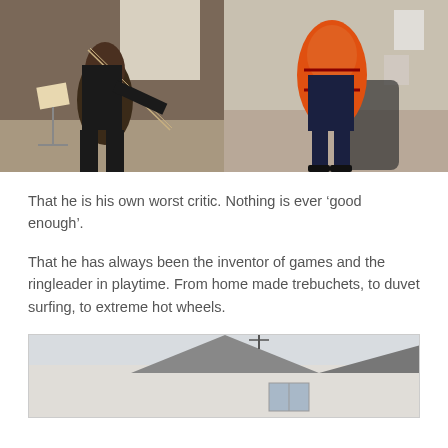[Figure (photo): Two side-by-side photos. Left: person playing a cello indoors with a music stand visible. Right: person holding a large orange/red electric cello standing in a room.]
That he is his own worst critic. Nothing is ever ‘good enough’.
That he has always been the inventor of games and the ringleader in playtime. From home made trebuchets, to duvet surfing, to extreme hot wheels.
[Figure (photo): Partial photo showing the exterior of a house with a peaked roof against a light sky.]